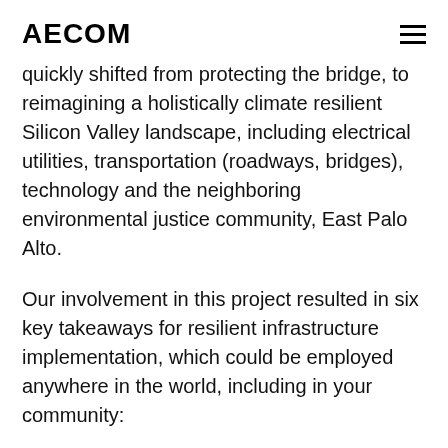AECOM
quickly shifted from protecting the bridge, to reimagining a holistically climate resilient Silicon Valley landscape, including electrical utilities, transportation (roadways, bridges), technology and the neighboring environmental justice community, East Palo Alto.
Our involvement in this project resulted in six key takeaways for resilient infrastructure implementation, which could be employed anywhere in the world, including in your community:
1: Critical infrastructure cannot be protected in